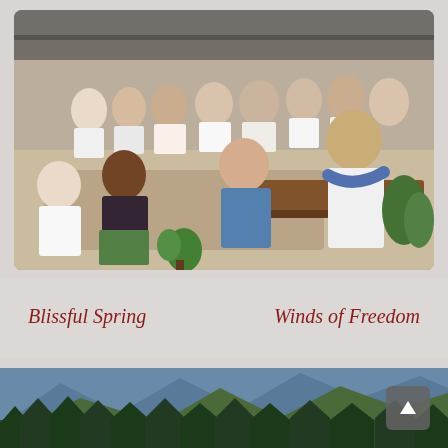[Figure (photo): Group of people sitting on the floor in a large open pavilion-style room, a teacher or guide in white with a blue scarf sitting at right interacting with a woman in a blue top, surrounded by many participants.]
Blissful Spring
Winds of Freedom
[Figure (photo): Mountain landscape with blue rocky peaks, dense green forest in the foreground.]